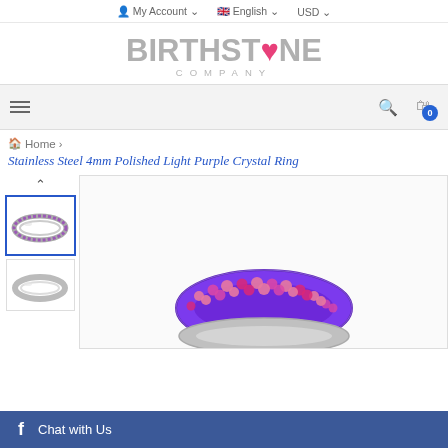My Account  English  USD
[Figure (logo): Birthstone Company logo with pink heart replacing the O in STONE]
[Figure (screenshot): Navigation menu bar with hamburger icon, search icon, and cart with badge showing 0]
Home >
Stainless Steel 4mm Polished Light Purple Crystal Ring
[Figure (photo): Thumbnail of stainless steel ring with light purple crystals, selected with blue border]
[Figure (photo): Thumbnail of plain stainless steel ring side view]
[Figure (photo): Large main product image showing close-up of ring with purple and pink crystals set in purple channel]
Chat with Us